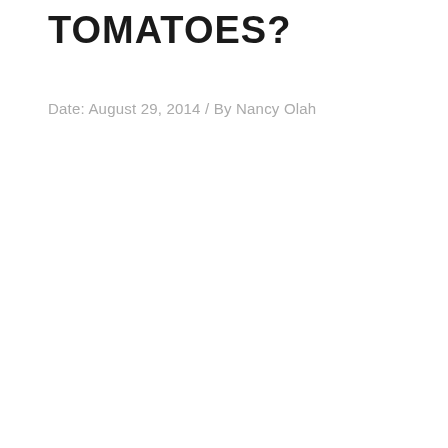TOMATOES?
Date: August 29, 2014 / By Nancy Olah